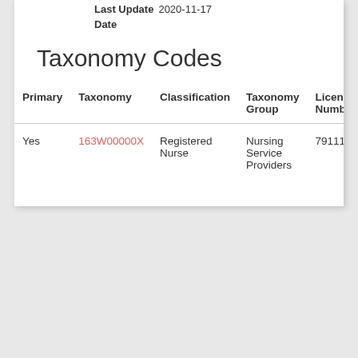Last Update Date  2020-11-17
Taxonomy Codes
| Primary | Taxonomy | Classification | Taxonomy Group | License Number |
| --- | --- | --- | --- | --- |
| Yes | 163W00000X | Registered Nurse | Nursing Service Providers | 791119 |